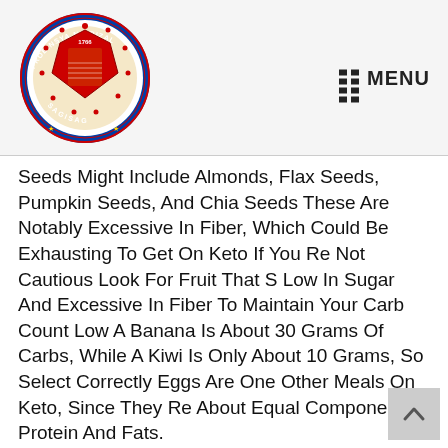[Figure (logo): Circular seal/logo of Rizal province Philippines with text 'PROBINSYA NG RIZAL' and 'SAGISAG' around the border, shield emblem in center, dated 1766]
MENU
Seeds Might Include Almonds, Flax Seeds, Pumpkin Seeds, And Chia Seeds These Are Notably Excessive In Fiber, Which Could Be Exhausting To Get On Keto If You Re Not Cautious Look For Fruit That S Low In Sugar And Excessive In Fiber To Maintain Your Carb Count Low A Banana Is About 30 Grams Of Carbs, While A Kiwi Is Only About 10 Grams, So Select Correctly Eggs Are One Other Meals On Keto, Since They Re About Equal Components Protein And Fats.